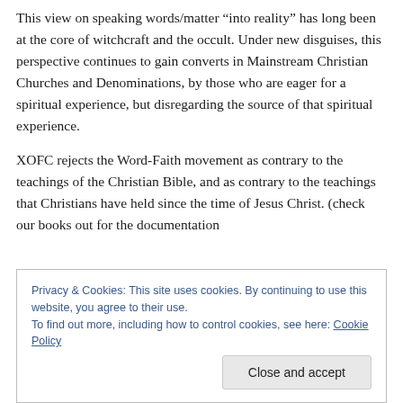This view on speaking words/matter “into reality” has long been at the core of witchcraft and the occult. Under new disguises, this perspective continues to gain converts in Mainstream Christian Churches and Denominations, by those who are eager for a spiritual experience, but disregarding the source of that spiritual experience.
XOFC rejects the Word-Faith movement as contrary to the teachings of the Christian Bible, and as contrary to the teachings that Christians have held since the time of Jesus Christ. (check our books out for the documentation
Privacy & Cookies: This site uses cookies. By continuing to use this website, you agree to their use.
To find out more, including how to control cookies, see here: Cookie Policy